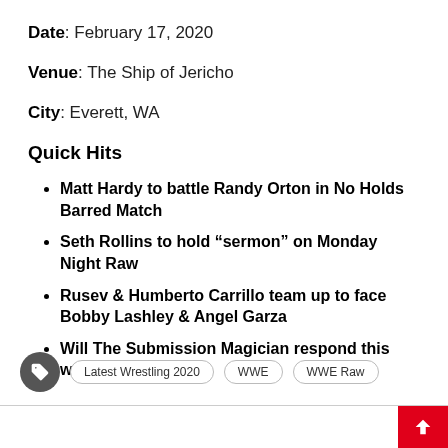Date: February 17, 2020
Venue: The Ship of Jericho
City: Everett, WA
Quick Hits
Matt Hardy to battle Randy Orton in No Holds Barred Match
Seth Rollins to hold “sermon” on Monday Night Raw
Rusev & Humberto Carrillo team up to face Bobby Lashley & Angel Garza
Will The Submission Magician respond this week?
Latest Wrestling 2020 | WWE | WWE Raw